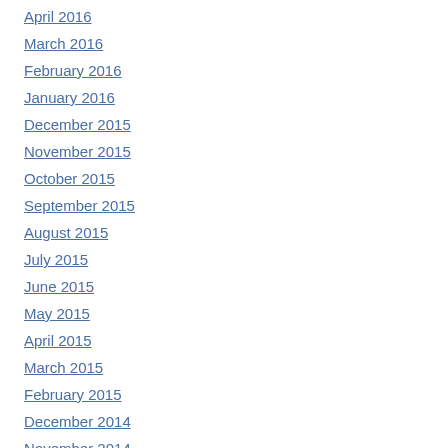April 2016
March 2016
February 2016
January 2016
December 2015
November 2015
October 2015
September 2015
August 2015
July 2015
June 2015
May 2015
April 2015
March 2015
February 2015
December 2014
November 2014
October 2014
September 2014